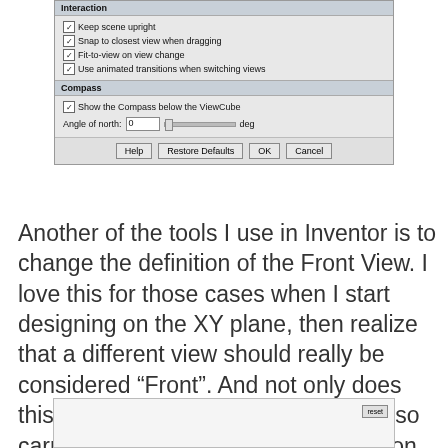[Figure (screenshot): Dialog box showing Interaction and Compass settings. Interaction section has checkboxes: Keep scene upright (checked), Snap to closest view when dragging (checked), Fit-to-view on view change (checked), Use animated transitions when switching views (checked). Compass section has: Show the Compass below the ViewCube (checked), Angle of north: 0 with slider and deg label. Buttons: Help, Restore Defaults, OK, Cancel.]
Another of the tools I use in Inventor is to change the definition of the Front View. I love this for those cases when I start designing on the XY plane, then realize that a different view should really be considered “Front”. And not only does this stay with the component, but it also carries through when creating views on the drawing. Here is the workflow for a valve:
[Figure (screenshot): Partial screenshot of a dialog or interface panel, with a reset button visible in the top-right corner.]